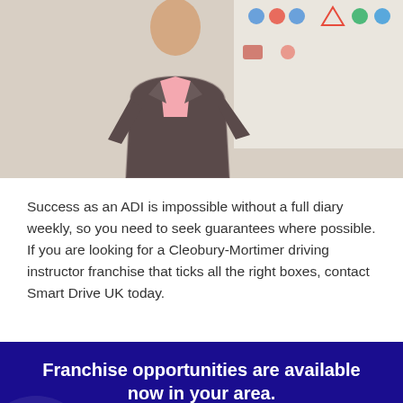[Figure (photo): A person in a plaid blazer and pink shirt standing in front of a whiteboard with driving-related signs/icons. The background shows a classroom or training room setting.]
Success as an ADI is impossible without a full diary weekly, so you need to seek guarantees where possible. If you are looking for a Cleobury-Mortimer driving instructor franchise that ticks all the right boxes, contact Smart Drive UK today.
Franchise opportunities are available now in your area.
Please fill free to call us on 08450 179 778 or